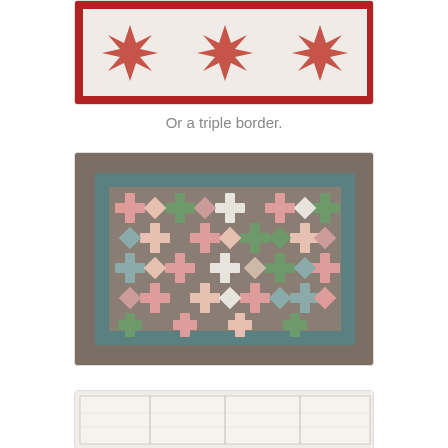[Figure (photo): Partial top view of a quilt with red houndstooth star pattern on cream background with red border, photo cropped at top edge of page]
Or a triple border.
[Figure (photo): Full quilt with cross/plus patchwork pattern in pink, green, red, and cream fabrics on a brown/taupe background with teal inner border and brown outer border]
[Figure (photo): Partial bottom view of a quilt with simple block/panel pattern, cropped at bottom edge of page]